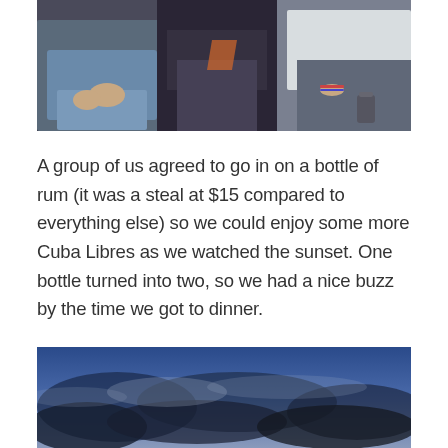[Figure (photo): Group of people sitting on rocks or ground outdoors, casual setting, multiple individuals visible from waist down with hands and casual clothing]
A group of us agreed to go in on a bottle of rum (it was a steal at $15 compared to everything else) so we could enjoy some more Cuba Libres as we watched the sunset. One bottle turned into two, so we had a nice buzz by the time we got to dinner.
[Figure (photo): Sky scene with blue hues and misty or cloudy formations, dramatic twilight or dusk sky]